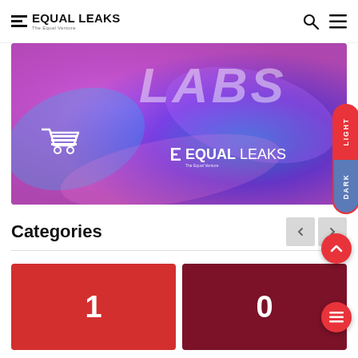EQUAL LEAKS — The Equal Venture
[Figure (screenshot): Banner image with purple/teal gradient background, 'LABS' text, shopping cart icon, and EQUAL LEAKS logo with light/dark toggle button on right side]
Categories
[Figure (infographic): Two category cards side by side: red card showing number 1, dark red card showing number 0]